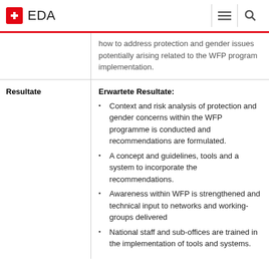EDA
how to address protection and gender issues potentially arising related to the WFP program implementation.
| Resultate | Erwartete Resultate: |
| --- | --- |
| Resultate | Erwartete Resultate:
• Context and risk analysis of protection and gender concerns within the WFP programme is conducted and recommendations are formulated.
• A concept and guidelines, tools and a system to incorporate the recommendations.
• Awareness within WFP is strengthened and technical input to networks and working-groups delivered
• National staff and sub-offices are trained in the implementation of tools and systems. |